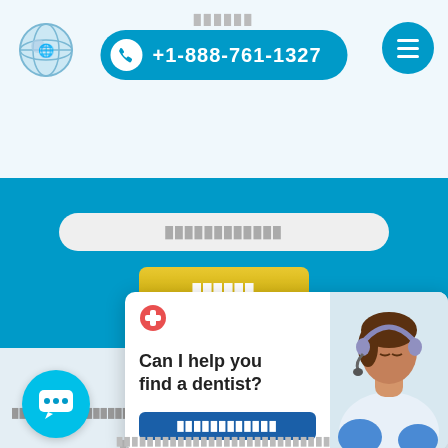[Figure (screenshot): Website header with globe logo, phone number button +1-888-761-1327, and hamburger menu icon on teal/white background]
+1-888-761-1327
[Figure (screenshot): Blue section with search input field and yellow search button]
Can I help you find a dentist?
[Figure (screenshot): Chat widget popup with red cross icon, text 'Can I help you find a dentist?', a blue button with redacted text, and photo of woman with headset. Below is a progress bar showing 70% and a teal chat bubble icon.]